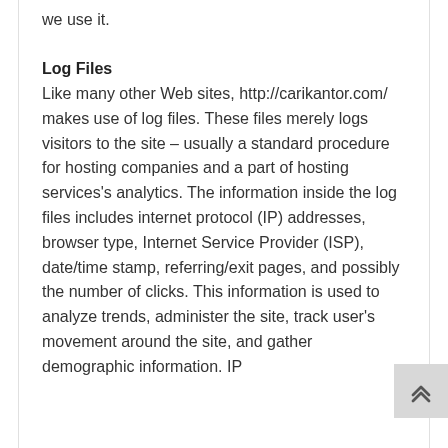we use it.
Log Files
Like many other Web sites, http://carikantor.com/ makes use of log files. These files merely logs visitors to the site – usually a standard procedure for hosting companies and a part of hosting services's analytics. The information inside the log files includes internet protocol (IP) addresses, browser type, Internet Service Provider (ISP), date/time stamp, referring/exit pages, and possibly the number of clicks. This information is used to analyze trends, administer the site, track user's movement around the site, and gather demographic information. IP